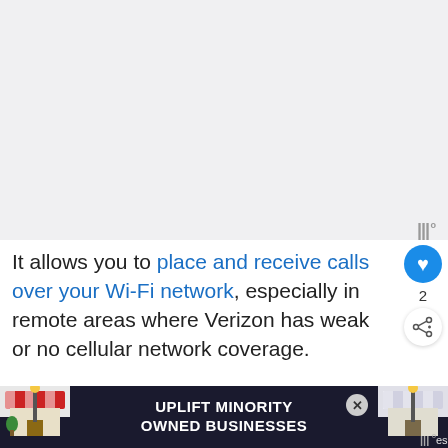[Figure (other): Large image area at the top of the page, shown as light gray placeholder rectangle]
It allows you to place and receive calls over your Wi-Fi network, especially in remote areas where Verizon has weak or no cellular network coverage.
VZW Wi-Fi works using internet protocols a...s es
[Figure (other): Advertisement banner at the bottom: 'UPLIFT MINORITY OWNED BUSINESSES' with store icons on left and right sides and a close button]